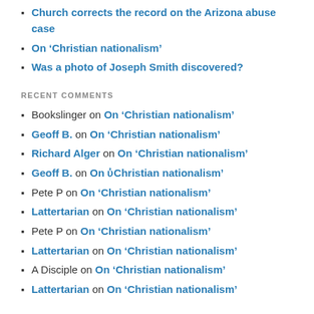Church corrects the record on the Arizona abuse case
On ‘Christian nationalism’
Was a photo of Joseph Smith discovered?
RECENT COMMENTS
Bookslinger on On ‘Christian nationalism’
Geoff B. on On ‘Christian nationalism’
Richard Alger on On ‘Christian nationalism’
Geoff B. on On ‘Christian nationalism’
Pete P on On ‘Christian nationalism’
Lattertarian on On ‘Christian nationalism’
Pete P on On ‘Christian nationalism’
Lattertarian on On ‘Christian nationalism’
A Disciple on On ‘Christian nationalism’
Lattertarian on On ‘Christian nationalism’
SYNDICATION
[Figure (logo): RSS feed orange icon]
Subscribe in a reader
SUBSCRIBE VIA EMAIL